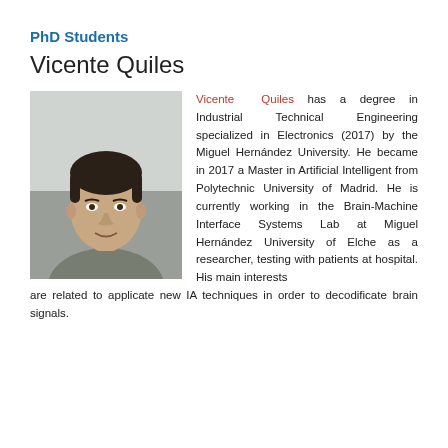PhD Students
Vicente Quiles
[Figure (photo): Headshot photo of Vicente Quiles, a young man wearing a grey t-shirt, photographed against a light grey/white background.]
Vicente Quiles has a degree in Industrial Technical Engineering specialized in Electronics (2017) by the Miguel Hernández University. He became in 2017 a Master in Artificial Intelligent from Polytechnic University of Madrid. He is currently working in the Brain-Machine Interface Systems Lab at Miguel Hernández University of Elche as a researcher, testing with patients at hospital. His main interests are related to applicate new IA techniques in order to decodificate brain signals.